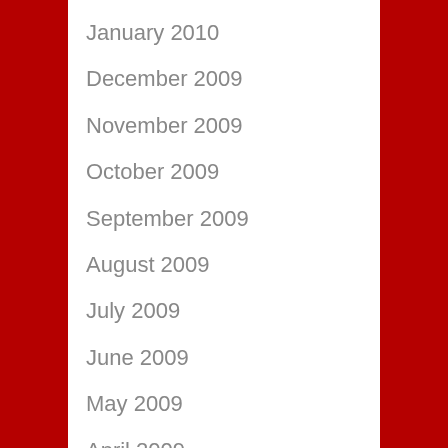January 2010
December 2009
November 2009
October 2009
September 2009
August 2009
July 2009
June 2009
May 2009
April 2009
Categories
All Pages